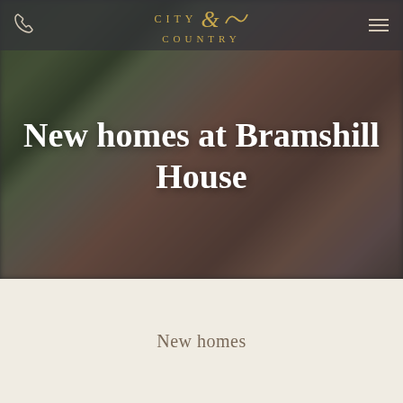[Figure (photo): Hero image of Bramshill House, a historic red-brick English manor building with trees and grounds, shown blurred as a background. Navigation bar overlaid at top with phone icon, City & Country logo, and hamburger menu icon.]
New homes at Bramshill House
New homes